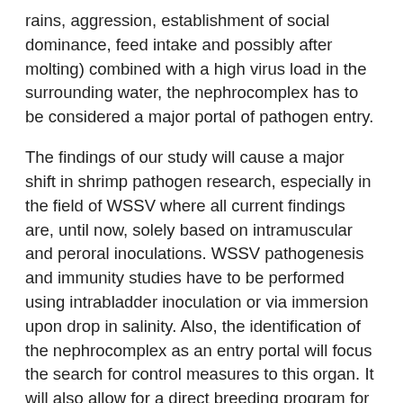rains, aggression, establishment of social dominance, feed intake and possibly after molting) combined with a high virus load in the surrounding water, the nephrocomplex has to be considered a major portal of pathogen entry.
The findings of our study will cause a major shift in shrimp pathogen research, especially in the field of WSSV where all current findings are, until now, solely based on intramuscular and peroral inoculations. WSSV pathogenesis and immunity studies have to be performed using intrabladder inoculation or via immersion upon drop in salinity. Also, the identification of the nephrocomplex as an entry portal will focus the search for control measures to this organ. It will also allow for a direct breeding program for pathogen resistance.
Finally, it confirms the empirical observation of shrimp farmers that periods of heavy rainfall are linked to major